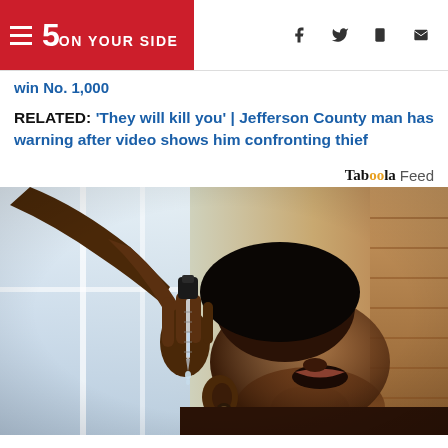5 ON YOUR SIDE
win No. 1,000
RELATED: 'They will kill you' | Jefferson County man has warning after video shows him confronting thief
Taboola Feed
[Figure (photo): A person tilting their head back while someone holds a medicine dropper above their open mouth, with a bright window and brick wall in the background.]